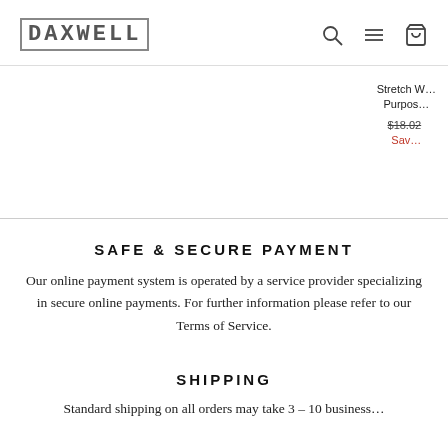DAXWELL
Stretch W... Purpos...
$18.02 ... Sav...
SAFE & SECURE PAYMENT
Our online payment system is operated by a service provider specializing in secure online payments. For further information please refer to our Terms of Service.
SHIPPING
Standard shipping on all orders may take 3 – 10 business...